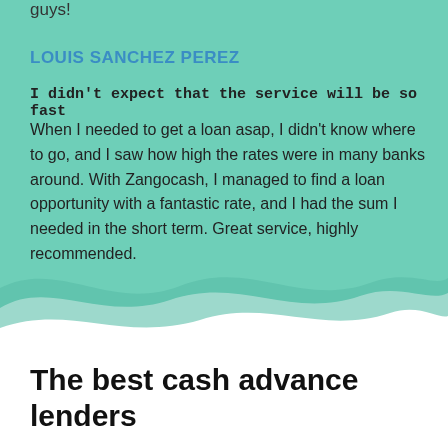guys!
LOUIS SANCHEZ PEREZ
I didn't expect that the service will be so fast
When I needed to get a loan asap, I didn't know where to go, and I saw how high the rates were in many banks around. With Zangocash, I managed to find a loan opportunity with a fantastic rate, and I had the sum I needed in the short term. Great service, highly recommended.
The best cash advance lenders